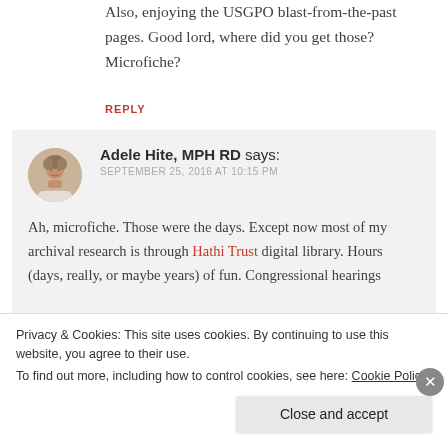Also, enjoying the USGPO blast-from-the-past pages. Good lord, where did you get those? Microfiche?
REPLY
Adele Hite, MPH RD says:
SEPTEMBER 25, 2016 AT 10:15 PM
Ah, microfiche. Those were the days. Except now most of my archival research is through Hathi Trust digital library. Hours (days, really, or maybe years) of fun. Congressional hearings
Privacy & Cookies: This site uses cookies. By continuing to use this website, you agree to their use.
To find out more, including how to control cookies, see here: Cookie Policy
Close and accept